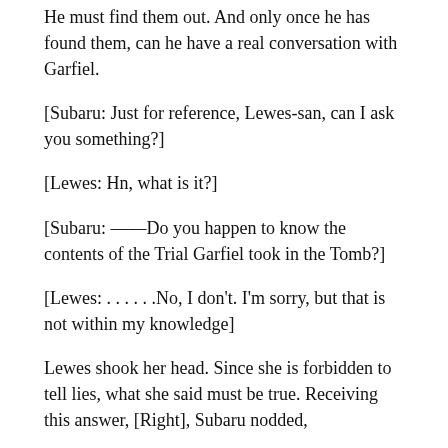He must find them out. And only once he has found them, can he have a real conversation with Garfiel.
[Subaru: Just for reference, Lewes-san, can I ask you something?]
[Lewes: Hn, what is it?]
[Subaru: ——Do you happen to know the contents of the Trial Garfiel took in the Tomb?]
[Lewes: . . . . . .No, I don't. I'm sorry, but that is not within my knowledge]
Lewes shook her head. Since she is forbidden to tell lies, what she said must be true. Receiving this answer, [Right], Subaru nodded,
[Subaru: Then let me change the question. ——Does another Lewes-san know the contents of the Trial